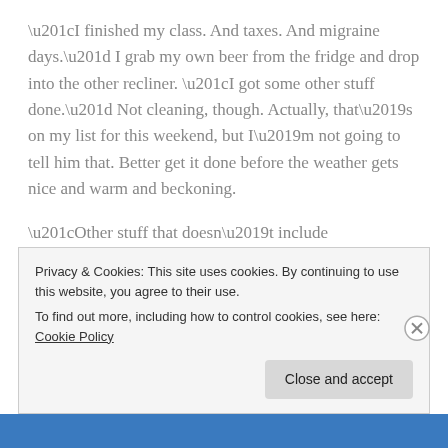“I finished my class. And taxes. And migraine days.” I grab my own beer from the fridge and drop into the other recliner. “I got some other stuff done.” Not cleaning, though. Actually, that’s on my list for this weekend, but I’m not going to tell him that. Better get it done before the weather gets nice and warm and beckoning.
“Other stuff that doesn’t include writing.”
“Other stuff that includes walks in the nice spring weather and … Hey, at least I’m not totally freaking out because I’m cooped up and distracted.” Just sort of freaking out. A
Privacy & Cookies: This site uses cookies. By continuing to use this website, you agree to their use.
To find out more, including how to control cookies, see here: Cookie Policy